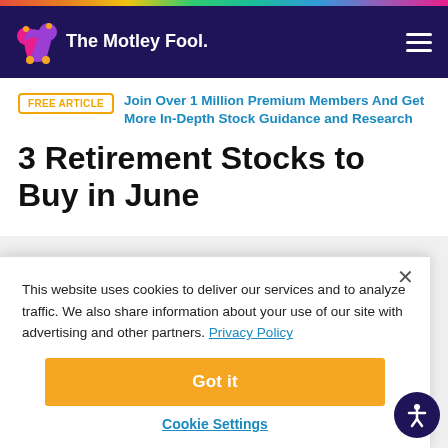[Figure (logo): The Motley Fool logo with jester hat in navy header bar]
FREE ARTICLE  Join Over 1 Million Premium Members And Get More In-Depth Stock Guidance and Research
3 Retirement Stocks to Buy in June
This website uses cookies to deliver our services and to analyze traffic. We also share information about your use of our site with advertising and other partners. Privacy Policy
Got it
Cookie Settings